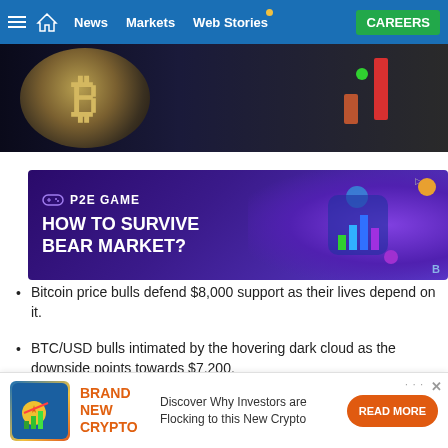News | Markets | Web Stories | CAREERS
[Figure (photo): Bitcoin coin with trading chart bars in background showing red and green candlesticks]
[Figure (infographic): P2E Game advertisement banner: HOW TO SURVIVE BEAR MARKET? with NFT game character illustration on purple background]
Bitcoin price bulls defend $8,000 support as their lives depend on it.
BTC/USD bulls intimated by the hovering dark cloud as the downside points towards $7,200.
[Figure (infographic): Brand New Crypto advertisement: Discover Why Investors are Flocking to this New Crypto. READ MORE button.]